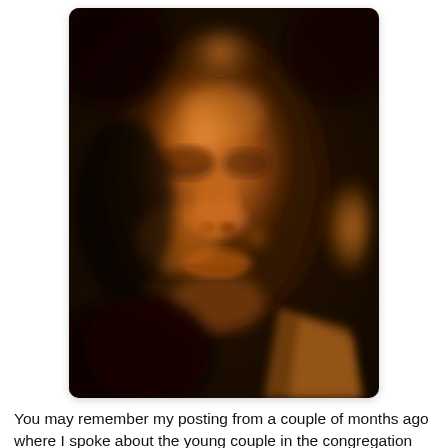[Figure (photo): 3D ultrasound image showing a fetus face in warm amber/brown tones, with visible facial features including forehead, nose, cheeks, and lips.]
You may remember my posting from a couple of months ago where I spoke about the young couple in the congregation who shared with me the initial ultrasound of their baby. It has not been an easy pregancy but this latest "snapshot" reminds them of the life that is developing and growing